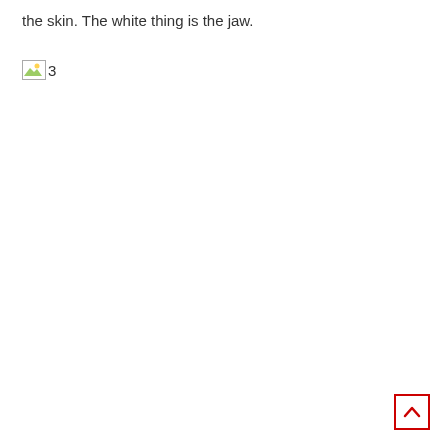the skin. The white thing is the jaw.
[Figure (photo): Broken image placeholder with label '3']
[Figure (other): Back to top button with red upward arrow]